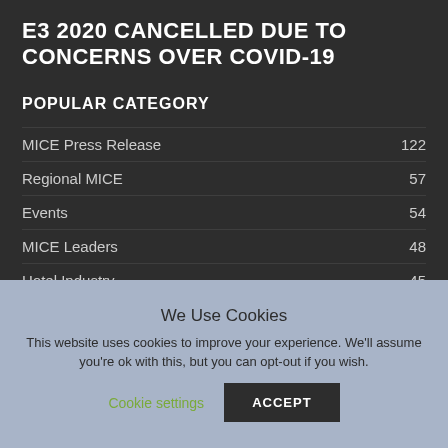E3 2020 CANCELLED DUE TO CONCERNS OVER COVID-19
POPULAR CATEGORY
MICE Press Release  122
Regional MICE  57
Events  54
MICE Leaders  48
Hotel Industry  45
We Use Cookies
This website uses cookies to improve your experience. We'll assume you're ok with this, but you can opt-out if you wish.
Cookie settings  ACCEPT